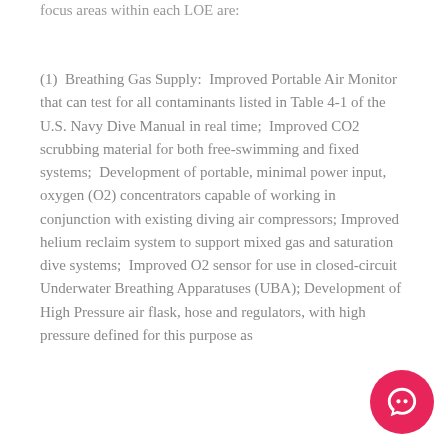focus areas within each LOE are:
(1)  Breathing Gas Supply:  Improved Portable Air Monitor that can test for all contaminants listed in Table 4-1 of the U.S. Navy Dive Manual in real time;  Improved CO2 scrubbing material for both free-swimming and fixed systems;  Development of portable, minimal power input, oxygen (O2) concentrators capable of working in conjunction with existing diving air compressors; Improved helium reclaim system to support mixed gas and saturation dive systems;  Improved O2 sensor for use in closed-circuit Underwater Breathing Apparatuses (UBA); Development of High Pressure air flask, hose and regulators, with high pressure defined for this purpose as